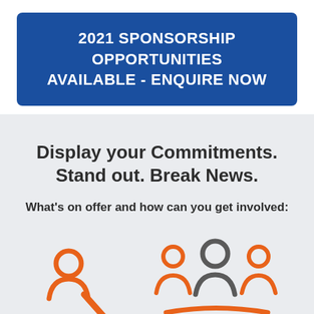2021 SPONSORSHIP OPPORTUNITIES AVAILABLE - ENQUIRE NOW
Display your Commitments. Stand out. Break News.
What's on offer and how can you get involved:
[Figure (illustration): Orange magnifying glass / person icon illustration]
[Figure (illustration): Group of three people icons in orange and gray]